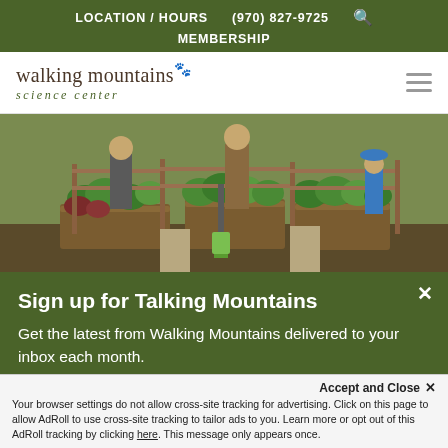LOCATION / HOURS  (970) 827-9725  🔍  MEMBERSHIP
walking mountains science center
[Figure (photo): People working in raised garden beds with lush green plants, wooden fencing, and a green shovel visible]
Sign up for Talking Mountains
Get the latest from Walking Mountains delivered to your inbox each month.
Accept and Close ✕
Your browser settings do not allow cross-site tracking for advertising. Click on this page to allow AdRoll to use cross-site tracking to tailor ads to you. Learn more or opt out of this AdRoll tracking by clicking here. This message only appears once.